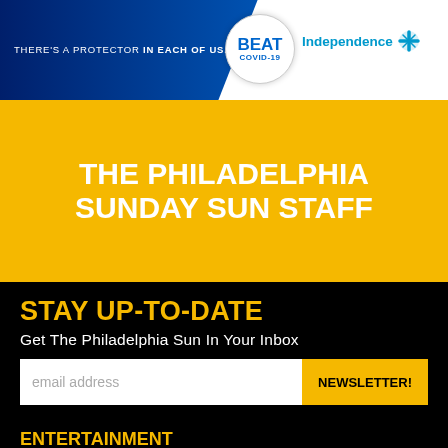[Figure (advertisement): Independence Blue Cross ad banner. Left side: dark blue gradient background with text 'THERE'S A PROTECTOR IN EACH OF US.' Right side: white circle with 'BEAT COVID-19' text, and 'Independence' logo with blue cross symbol.]
THE PHILADELPHIA SUNDAY SUN STAFF
STAY UP-TO-DATE
Get The Philadelphia Sun In Your Inbox
email address
NEWSLETTER!
ENTERTAINMENT